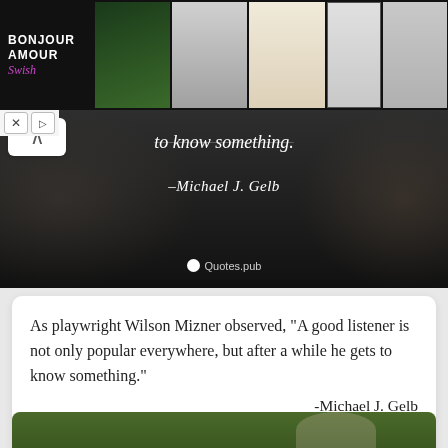[Figure (screenshot): Advertisement banner for 'Bonjour Amour Swish' showing fashion models, earrings, lipstick, and a floral swimsuit on dark background]
[Figure (photo): Dark background quote image from Quotes.pub showing partial text 'to know something.' attributed to Michael J. Gelb]
As playwright Wilson Mizner observed, “A good listener is not only popular everywhere, but after a while he gets to know something.
-Michael J. Gelb
[Figure (screenshot): Bottom green-tinted image peeking from bottom of page]